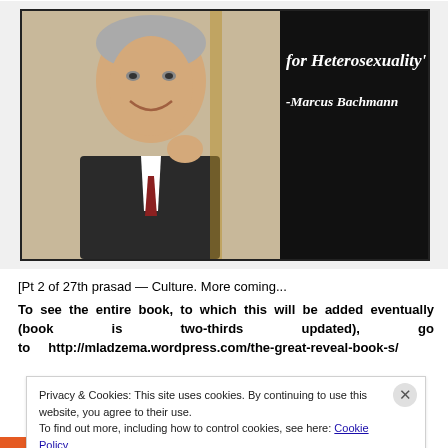[Figure (screenshot): Screenshot of a blog/article page showing a composite image: on the left, a man in a dark suit smiling and gesturing; on the right, a black background with white italic text reading 'for Heterosexuality' and '-Marcus Bachmann']
[Pt 2 of 27th prasad — Culture. More coming...
To see the entire book, to which this will be added eventually (book is two-thirds updated), go to http://mladzema.wordpress.com/the-great-reveal-book-s/
Privacy & Cookies: This site uses cookies. By continuing to use this website, you agree to their use.
To find out more, including how to control cookies, see here: Cookie Policy
Close and accept